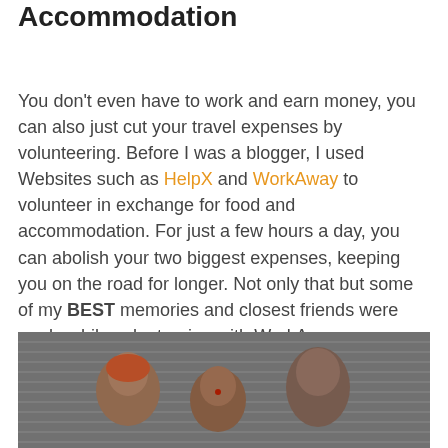Volunteer in Exchange for Food and Accommodation
You don't even have to work and earn money, you can also just cut your travel expenses by volunteering. Before I was a blogger, I used Websites such as HelpX and WorkAway to volunteer in exchange for food and accommodation. For just a few hours a day, you can abolish your two biggest expenses, keeping you on the road for longer. Not only that but some of my BEST memories and closest friends were made while volunteering with WorkAway.
[Figure (photo): Black and white photo of three young children standing close together, looking at the camera, in front of a corrugated metal structure.]